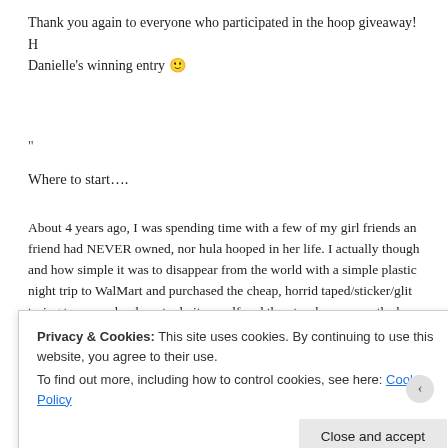Thank you again to everyone who participated in the hoop giveaway! Here is Danielle's winning entry 🙂
"
Where to start….
About 4 years ago, I was spending time with a few of my girl friends and one friend had NEVER owned, nor hula hooped in her life. I actually thought of how and how simple it was to disappear from the world with a simple plastic hoop. I night trip to WalMart and purchased the cheap, horrid taped/sticker/glit trying to remember how to do it myself and then teach someone the ba love and began hooping on her own, making her collection grow to pro
I had unfortunately stopped messing around with the hoop(s) due to pe distractions, until recently. I picked my simple hoop back up a few mon
Privacy & Cookies: This site uses cookies. By continuing to use this website, you agree to their use.
To find out more, including how to control cookies, see here: Cookie Policy
Close and accept
[Figure (illustration): Decorative colorful banner bar at the bottom of the page with ornate patterns in orange, red, purple, and blue gradient]